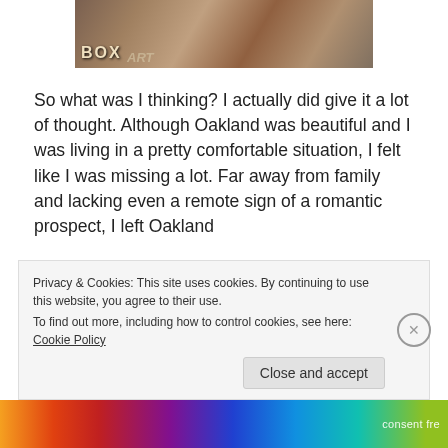[Figure (photo): Sepia-toned photograph showing boxes, including one labeled BOX, with people in the background]
So what was I thinking? I actually did give it a lot of thought. Although Oakland was beautiful and I was living in a pretty comfortable situation, I felt like I was missing a lot. Far away from family and lacking even a remote sign of a romantic prospect, I left Oakland
Privacy & Cookies: This site uses cookies. By continuing to use this website, you agree to their use.
To find out more, including how to control cookies, see here: Cookie Policy
Close and accept